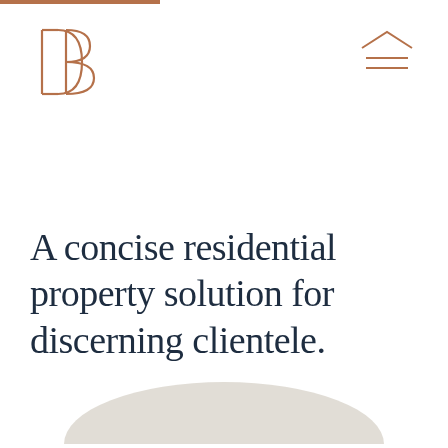[Figure (logo): DB monogram logo in copper/terracotta color, geometric style with D and B letterforms]
[Figure (illustration): Hamburger menu icon with house/roof shape above two horizontal lines, in copper color, top right corner]
A concise residential property solution for discerning clientele.
[Figure (illustration): Decorative hill or dome shape in light warm beige/grey at bottom center of page]